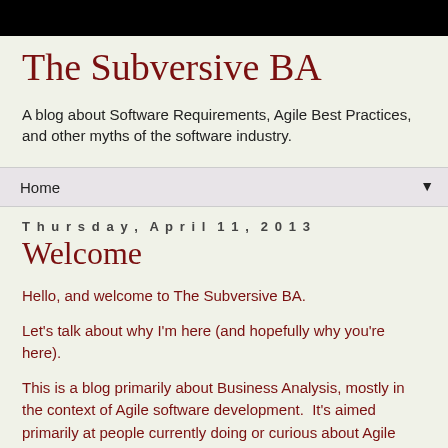The Subversive BA
A blog about Software Requirements, Agile Best Practices, and other myths of the software industry.
Home
Thursday, April 11, 2013
Welcome
Hello, and welcome to The Subversive BA.
Let's talk about why I'm here (and hopefully why you're here).
This is a blog primarily about Business Analysis, mostly in the context of Agile software development.  It's aimed primarily at people currently doing or curious about Agile development, and who in some way interact with the concept